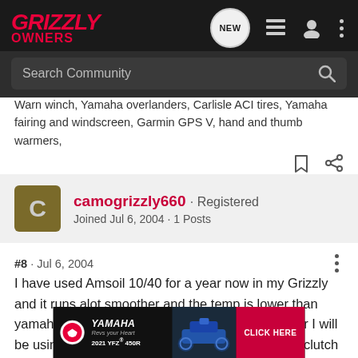Grizzly Owners
Warn winch, Yamaha overlanders, Carlisle ACI tires, Yamaha fairing and windscreen, Garmin GPS V, hand and thumb warmers,
camogrizzly660 · Registered
Joined Jul 6, 2004 · 1 Posts
#8 · Jul 6, 2004
I have used Amsoil 10/40 for a year now in my Grizzly and it runs alot smoother and the temp is lower than yamahalube. I also use the Amsoil filter. For winter I will be using Amsoil 0/40 ATv oil. Perfectly safe in wetclutch applications.
[Figure (photo): Yamaha 2021 YFZ 450R advertisement banner with blue ATV and CLICK HERE button]